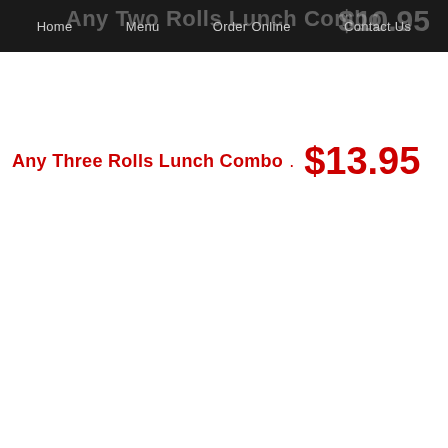Home | Menu | Order Online | Contact Us
Any Three Rolls Lunch Combo . $13.95